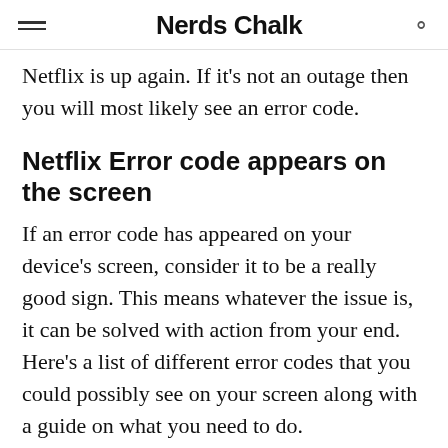Nerds Chalk
Netflix is up again. If it's not an outage then you will most likely see an error code.
Netflix Error code appears on the screen
If an error code has appeared on your device's screen, consider it to be a really good sign. This means whatever the issue is, it can be solved with action from your end. Here's a list of different error codes that you could possibly see on your screen along with a guide on what you need to do.